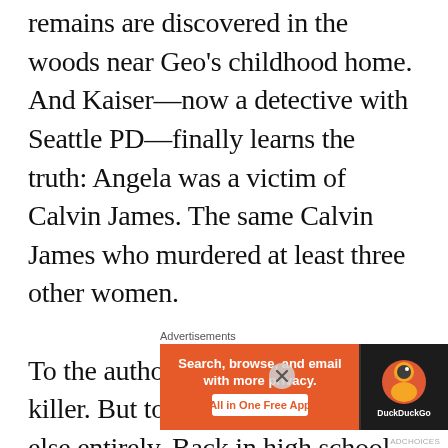remains are discovered in the woods near Geo's childhood home. And Kaiser—now a detective with Seattle PD—finally learns the truth: Angela was a victim of Calvin James. The same Calvin James who murdered at least three other women.

To the authorities, Calvin is a serial killer. But to Geo, he's something else entirely. Back in high school, Calvin was Geo's first love. Turbulent and often volatile, their relationship bordered on obsession from the
Advertisements
[Figure (other): DuckDuckGo advertisement banner: orange background on left with text 'Search, browse, and email with more privacy. All in One Free App', dark background on right with DuckDuckGo logo and duck icon.]
ADCHOICES